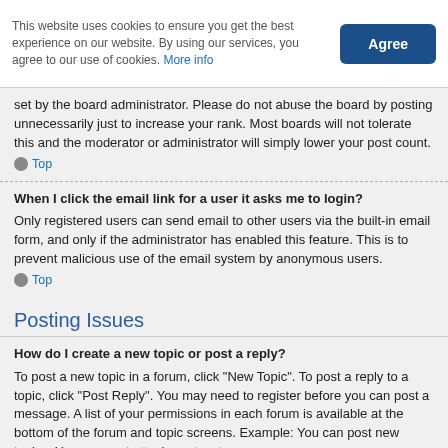This website uses cookies to ensure you get the best experience on our website. By using our services, you agree to our use of cookies. More info
Agree
set by the board administrator. Please do not abuse the board by posting unnecessarily just to increase your rank. Most boards will not tolerate this and the moderator or administrator will simply lower your post count.
Top
When I click the email link for a user it asks me to login?
Only registered users can send email to other users via the built-in email form, and only if the administrator has enabled this feature. This is to prevent malicious use of the email system by anonymous users.
Top
Posting Issues
How do I create a new topic or post a reply?
To post a new topic in a forum, click "New Topic". To post a reply to a topic, click "Post Reply". You may need to register before you can post a message. A list of your permissions in each forum is available at the bottom of the forum and topic screens. Example: You can post new topics, You can post attachments, etc.
Top
How do I edit or delete a post?